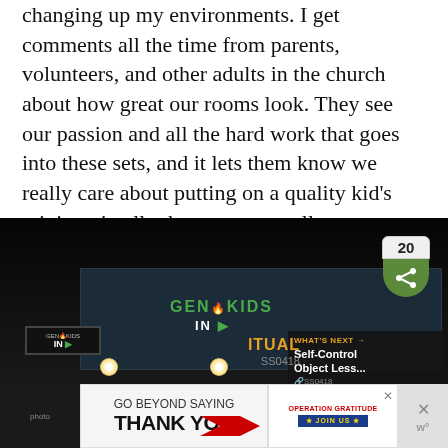changing up my environments. I get comments all the time from parents, volunteers, and other adults in the church about how great our rooms look. They see our passion and all the hard work that goes into these sets, and it lets them know we really care about putting on a quality kid's ministry in all other areas as well.
[Figure (photo): A dark stage with theatrical lighting showing a children's ministry room setup with a large screen displaying 'GEN KIDS' logo in green, spotlights illuminating the stage, a digital sign board on the left, and a share button overlay showing count of 20. A side panel shows 'WHAT'S NEXT: Self-Control Object Less...' A bottom advertisement banner reads 'GO BEYOND SAYING THANK YOU' with Operation Gratitude branding.]